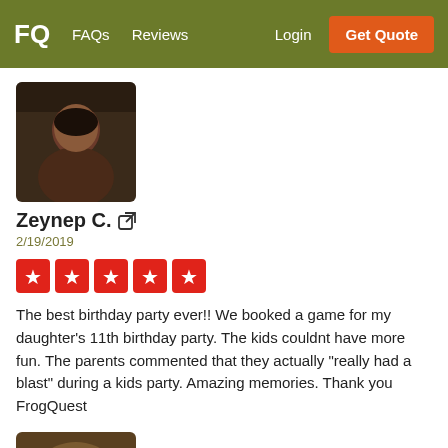FQ  FAQs  Reviews  Login  Get Quote
[Figure (photo): Profile photo of Zeynep C., a woman with dark hair]
Zeynep C.
2/19/2019
[Figure (other): Five red star rating boxes]
The best birthday party ever!! We booked a game for my daughter's 11th birthday party. The kids couldnt have more fun. The parents commented that they actually "really had a blast" during a kids party. Amazing memories. Thank you FrogQuest
[Figure (photo): Profile photo of Allison E., a woman with a dog]
Allison E.
2/28/2015